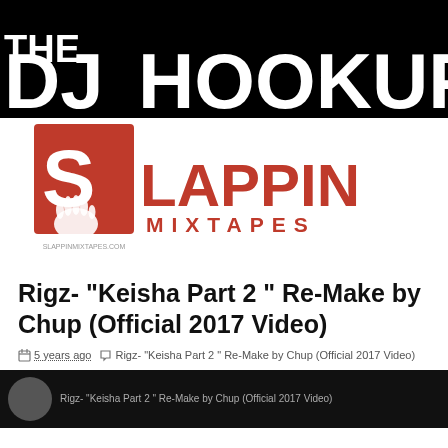[Figure (logo): THE DJ HOOKUP logo in white text on black background]
[Figure (logo): Slappin Mixtapes logo with red S icon and hand graphic]
Rigz- "Keisha Part 2 " Re-Make by Chup (Official 2017 Video)
5 years ago  Rigz- "Keisha Part 2 " Re-Make by Chup (Official 2017 Video)
[Figure (screenshot): Video thumbnail showing Rigz Keisha Part 2 Re-Make by Chup Official 2017 Video]